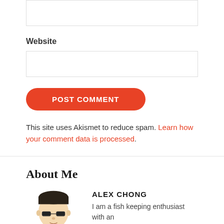[input box - top, partial]
Website
[input box - website]
POST COMMENT
This site uses Akismet to reduce spam. Learn how your comment data is processed.
About Me
[Figure (illustration): Illustrated avatar/portrait of Alex Chong, a man with glasses and dark hair]
ALEX CHONG
I am a fish keeping enthusiast with an